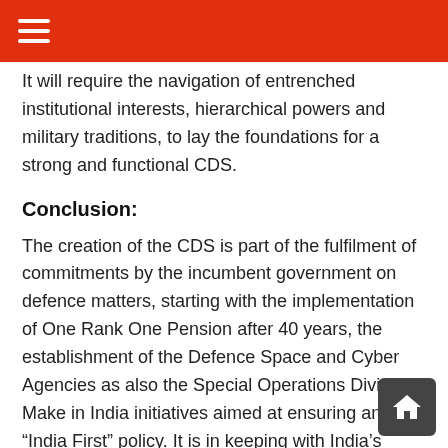≡
It will require the navigation of entrenched institutional interests, hierarchical powers and military traditions, to lay the foundations for a strong and functional CDS.
Conclusion:
The creation of the CDS is part of the fulfilment of commitments by the incumbent government on defence matters, starting with the implementation of One Rank One Pension after 40 years, the establishment of the Defence Space and Cyber Agencies as also the Special Operations Division, Make in India initiatives aimed at ensuring an “India First” policy. It is in keeping with India’s aspirations to fulfil its destiny as a major power in the 21st century.